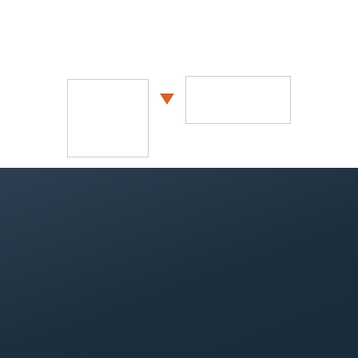[Figure (other): Form UI with two rectangular input boxes connected by an orange downward arrow, on white background]
[Figure (logo): Safe Diamond Security logo with diamond gem icon, white text on dark navy background]
-: 05121-7039555
-: info@safediamond.de